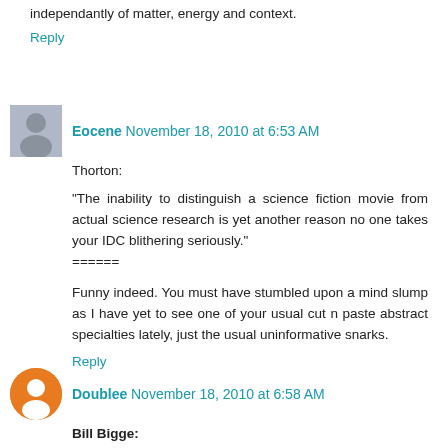independantly of matter, energy and context.
Reply
Eocene  November 18, 2010 at 6:53 AM
Thorton:
"The inability to distinguish a science fiction movie from actual science research is yet another reason no one takes your IDC blithering seriously."
======
Funny indeed. You must have stumbled upon a mind slump as I have yet to see one of your usual cut n paste abstract specialties lately, just the usual uninformative snarks.
Reply
Doublee  November 18, 2010 at 6:58 AM
Bill Bigge:
You seem to think that we need to understand where